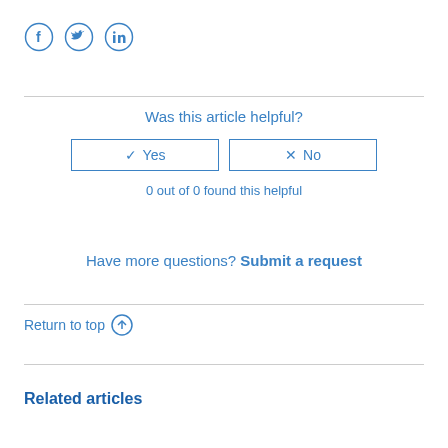[Figure (other): Social media share icons: Facebook, Twitter, LinkedIn circles in blue outline style]
Was this article helpful?
✓ Yes | × No (buttons)
0 out of 0 found this helpful
Have more questions? Submit a request
Return to top ↑
Related articles